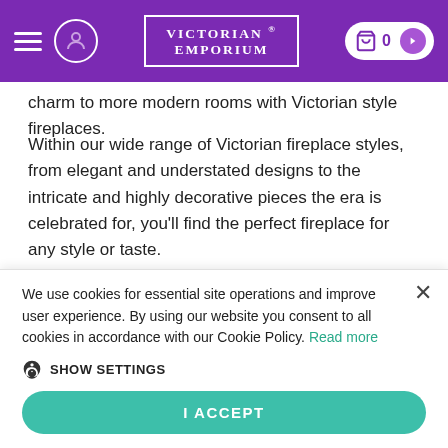VICTORIAN ® EMPORIUM — navigation bar with hamburger menu, user icon, logo, and cart
charm to more modern rooms with Victorian style fireplaces.
Within our wide range of Victorian fireplace styles, from elegant and understated designs to the intricate and highly decorative pieces the era is celebrated for, you'll find the perfect fireplace for any style or taste.
Cast from authentic traditional fireplace designs
Our cast iron fireplaces are cast from authentic and historic designs to deliver a stunning vintage aesthetic.
We use cookies for essential site operations and improve user experience. By using our website you consent to all cookies in accordance with our Cookie Policy. Read more
SHOW SETTINGS
I ACCEPT